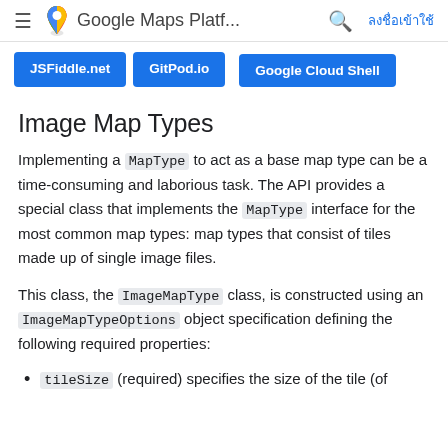Google Maps Platf...  ลงชื่อเข้าใช้
[Figure (other): Blue buttons: JSFiddle.net, GitPod.io, Google Cloud Shell]
Image Map Types
Implementing a MapType to act as a base map type can be a time-consuming and laborious task. The API provides a special class that implements the MapType interface for the most common map types: map types that consist of tiles made up of single image files.
This class, the ImageMapType class, is constructed using an ImageMapTypeOptions object specification defining the following required properties:
tileSize (required) specifies the size of the tile (of